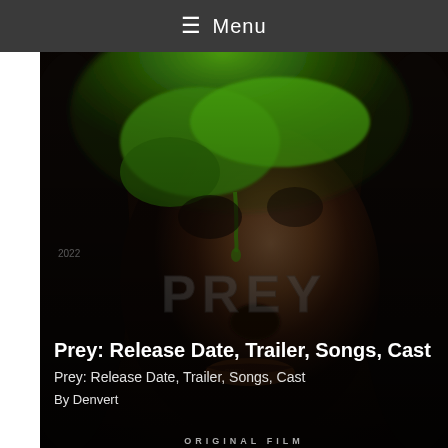≡ Menu
[Figure (photo): Movie poster for 'Prey' showing a close-up of a face with green liquid/paint splashed across the forehead and eyes, dark atmospheric lighting, with the stylized 'PREY' title logo in stone/metallic letters overlaid on the lower portion of the face. Text '2022' and 'ORIGINAL FILM' also visible.]
Prey: Release Date, Trailer, Songs, Cast
Prey: Release Date, Trailer, Songs, Cast
By Denvert